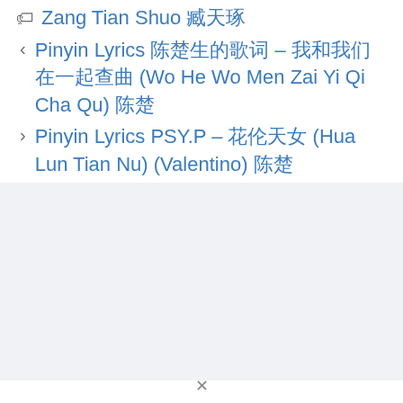Zang Tian Shuo 臧天朔
Pinyin Lyrics 陈楚生的歌词 – 我和我们在一起查曲 (Wo He Wo Men Zai Yi Qi Cha Qu) 陈楚
Pinyin Lyrics PSY.P – 花伦天女 (Hua Lun Tian Nu) (Valentino) 陈楚